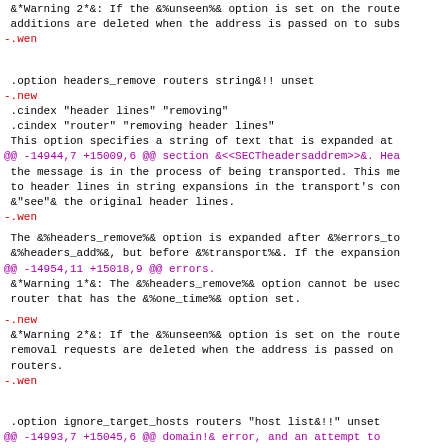&*Warning 2*&: If the &%unseen%& option is set on the route additions are deleted when the address is passed on to subs
-.wen
.option headers_remove routers string&!! unset
-.new
.cindex "header lines" "removing"
 .cindex "router" "removing header lines"
 This option specifies a string of text that is expanded at
@@ -14944,7 +15009,6 @@ section &<<SECTheadersaddrem>>&. Hea the message is in the process of being transported. This me to header lines in string expansions in the transport's con &"see"& the original header lines.
-.wen
The &%headers_remove%& option is expanded after &%errors_to &%headers_add%&, but before &%transport%&. If the expansion
@@ -14954,11 +15018,9 @@ errors.
&*Warning 1*&: The &%headers_remove%& option cannot be usec router that has the &%one_time%& option set.
-.new
&*Warning 2*&: If the &%unseen%& option is set on the route removal requests are deleted when the address is passed on routers.
-.wen
.option ignore_target_hosts routers "host list&!!" unset
@@ -14993,7 +15045,6 @@ domain!& error, and an attempt to